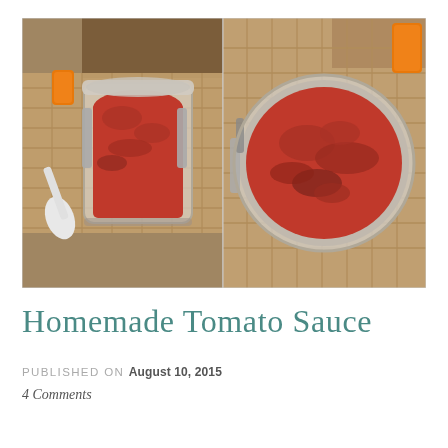[Figure (photo): Two side-by-side photos of homemade tomato sauce in glass clip-top jars on burlap fabric. Left photo shows a side view of a jar filled with chunky red tomato sauce with an orange handle clip and a white spoon. Right photo shows a top-down view of a similar jar filled with thick chunky tomato sauce.]
Homemade tomato sauce
PUBLISHED ON August 10, 2015
4 Comments